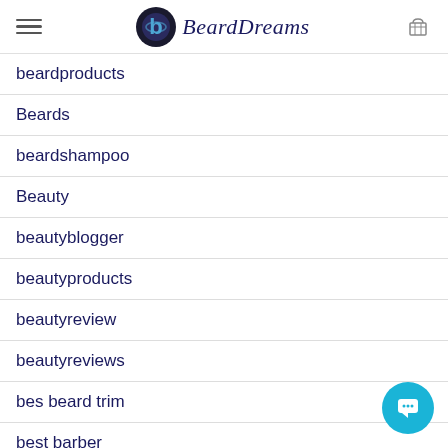BeardDreams
beardproducts
Beards
beardshampoo
Beauty
beautyblogger
beautyproducts
beautyreview
beautyreviews
bes beard trim
best barber